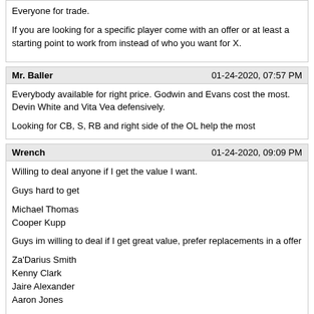Everyone for trade.

If you are looking for a specific player come with an offer or at least a starting point to work from instead of who you want for X.
Mr. Baller | 01-24-2020, 07:57 PM
Everybody available for right price. Godwin and Evans cost the most. Devin White and Vita Vea defensively.

Looking for CB, S, RB and right side of the OL help the most
Wrench | 01-24-2020, 09:09 PM
Willing to deal anyone if I get the value I want.

Guys hard to get

Michael Thomas
Cooper Kupp

Guys im willing to deal if I get great value, prefer replacements in a offer

Za'Darius Smith
Kenny Clark
Jaire Alexander
Aaron Jones

Guys ill deal to deal for other stuff

Jared Goff (Have to have a QB in return)
Preston Smith
Alshon Jeffery
Kevin King
Malcolm Butler